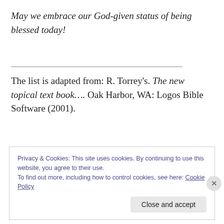May we embrace our God-given status of being blessed today!
The list is adapted from: R. Torrey's. The new topical text book…. Oak Harbor, WA: Logos Bible Software (2001).
Privacy & Cookies: This site uses cookies. By continuing to use this website, you agree to their use.
To find out more, including how to control cookies, see here: Cookie Policy
Close and accept